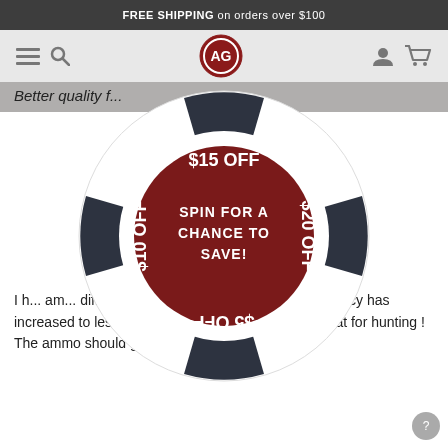FREE SHIPPING on orders over $100
[Figure (logo): AG logo circle in red and white, navigation bar with hamburger menu, search, user and cart icons]
Better quality f...
[Figure (infographic): Spin-to-win wheel popup with four dark segments labeled $15 OFF (top), $20 OFF (right), $5 OFF (bottom, upside down), $10 OFF (left), and a dark red center circle with text SPIN FOR A CHANCE TO SAVE!]
I h... am... diffe... em without c... kirt of pellets ! Accuracy has increased to less than a dime at 25-yds which is great for hunting ! The ammo should go into the